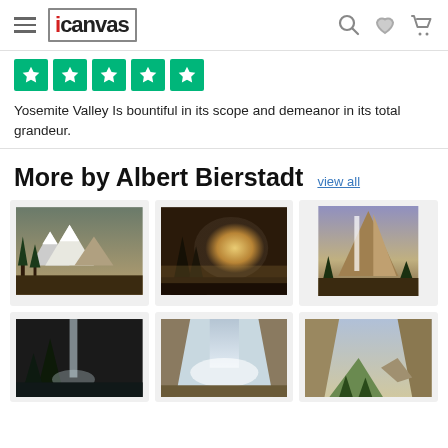icanvas navigation bar with hamburger menu, logo, search, wishlist, and cart icons
[Figure (logo): iCanvas logo with red dot on i, inside a bordered rectangle]
[Figure (infographic): Five Trustpilot green star rating boxes]
Yosemite Valley Is bountiful in its scope and demeanor in its total grandeur.
More by Albert Bierstadt
view all
[Figure (photo): Painting of snowy mountain peaks with pine trees in a valley]
[Figure (photo): Painting of misty Yosemite valley with sun breaking through trees]
[Figure (photo): Painting of Half Dome and waterfall in Yosemite with purple sky]
[Figure (photo): Painting of dark forest with waterfall and misty atmosphere]
[Figure (photo): Painting of Yosemite waterfalls with mist]
[Figure (photo): Painting of Yosemite valley with rock formations and trees]